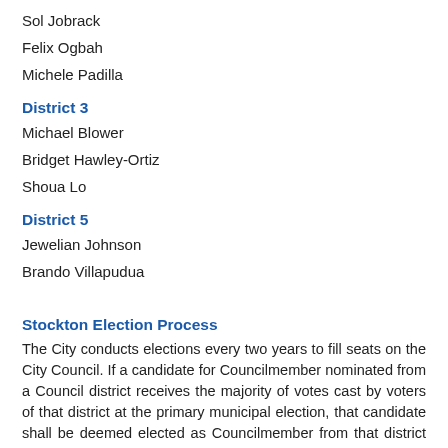Sol Jobrack
Felix Ogbah
Michele Padilla
District 3
Michael Blower
Bridget Hawley-Ortiz
Shoua Lo
District 5
Jewelian Johnson
Brando Villapudua
Stockton Election Process
The City conducts elections every two years to fill seats on the City Council. If a candidate for Councilmember nominated from a Council district receives the majority of votes cast by voters of that district at the primary municipal election, that candidate shall be deemed elected as Councilmember from that district at the primary municipal election.
If no candidate for Councilmember from a district receives a majority of votes cast at the primary municipal election, the two candidates receiving the highest number of votes cast shall qualify as candidates for the runoff election for Councilmember from that district. The runoff election for that Council district